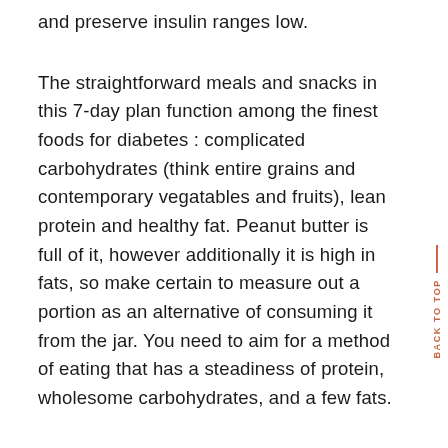and preserve insulin ranges low.
The straightforward meals and snacks in this 7-day plan function among the finest foods for diabetes : complicated carbohydrates (think entire grains and contemporary vegatables and fruits), lean protein and healthy fat. Peanut butter is full of it, however additionally it is high in fats, so make certain to measure out a portion as an alternative of consuming it from the jar. You need to aim for a method of eating that has a steadiness of protein, wholesome carbohydrates, and a few fats.
So, what you want to do now's create the eating